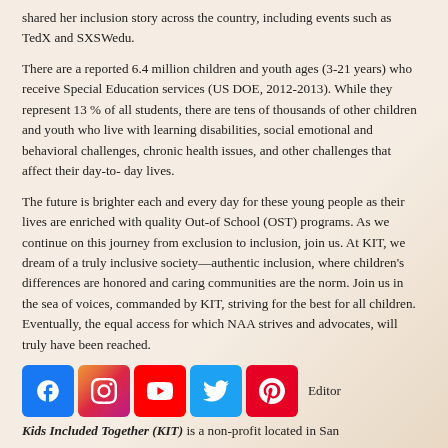shared her inclusion story across the country, including events such as TedX and SXSWedu.
There are a reported 6.4 million children and youth ages (3-21 years) who receive Special Education services (US DOE, 2012-2013). While they represent 13 % of all students, there are tens of thousands of other children and youth who live with learning disabilities, social emotional and behavioral challenges, chronic health issues, and other challenges that affect their day-to- day lives.
The future is brighter each and every day for these young people as their lives are enriched with quality Out-of School (OST) programs. As we continue on this journey from exclusion to inclusion, join us. At KIT, we dream of a truly inclusive society—authentic inclusion, where children's differences are honored and caring communities are the norm. Join us in the sea of voices, commanded by KIT, striving for the best for all children. Eventually, the equal access for which NAA strives and advocates, will truly have been reached.
[Figure (infographic): Row of five social media icons: Facebook (blue), Instagram (gradient), YouTube (red), Twitter (blue), Pinterest (red), followed by text 'Editor']
Kids Included Together (KIT) is a non-profit located in San